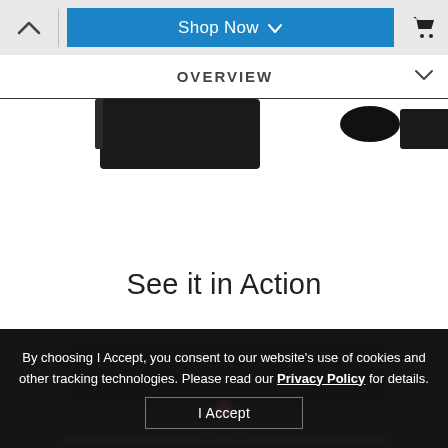^ | Shop Now ∨ 🛒
OVERVIEW
[Figure (photo): Partial product image showing dark electronic device against white background]
See it in Action
[Figure (photo): Dark background image of electronic device with red accent light]
By choosing I Accept, you consent to our website's use of cookies and other tracking technologies. Please read our Privacy Policy for details.
I Accept